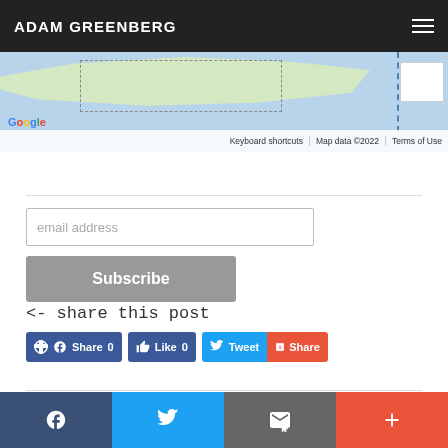ADAM GREENBERG
[Figure (screenshot): Google Maps screenshot showing a map with a land region, dotted outline box, dashed vertical line, and a white inset box. Footer shows 'Keyboard shortcuts | Map data ©2022 | Terms of Use']
email address
Subscribe
<- share this post
Share 0   Like 0   Tweet   Share
Facebook  Twitter  Email  +